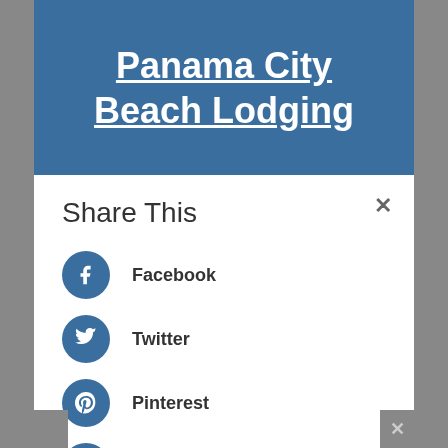Panama City Beach Lodging
Share This
Facebook
Twitter
Pinterest
Tumblr